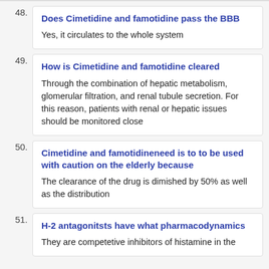48. Does Cimetidine and famotidine pass the BBB
Yes, it circulates to the whole system
49. How is Cimetidine and famotidine cleared
Through the combination of hepatic metabolism, glomerular filtration, and renal tubule secretion. For this reason, patients with renal or hepatic issues should be monitored close
50. Cimetidine and famotidineneed is to to be used with caution on the elderly because
The clearance of the drug is dimished by 50% as well as the distribution
51. H-2 antagonitsts have what pharmacodynamics
They are competetive inhibitors of histamine in the